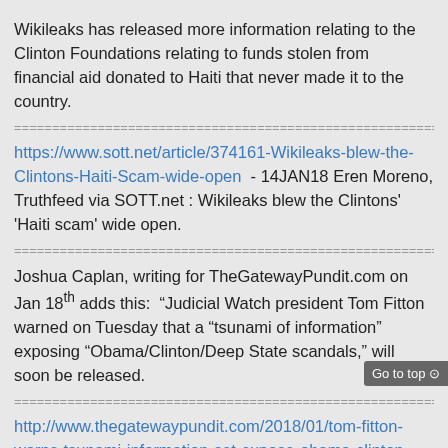Wikileaks has released more information relating to the Clinton Foundations relating to funds stolen from financial aid donated to Haiti that never made it to the country.
==========================================================
https://www.sott.net/article/374161-Wikileaks-blew-the-Clintons-Haiti-Scam-wide-open  - 14JAN18 Eren Moreno, Truthfeed via SOTT.net : Wikileaks blew the Clintons' 'Haiti scam' wide open.
==========================================================
Joshua Caplan, writing for TheGatewayPundit.com on Jan 18th adds this:  “Judicial Watch president Tom Fitton warned on Tuesday that a “tsunami of information” exposing “Obama/Clinton/Deep State scandals,” will soon be released.
==========================================================
http://www.thegatewaypundit.com/2018/01/tom-fitton-warns-tsunami-information-set-expose-obama-clinton-deep-state-scandals/  - 18JAN18 Joshua Caplan, TheGatewayPundit.com : TOM FITTON WARNS: “Tsunami of Information” Set To